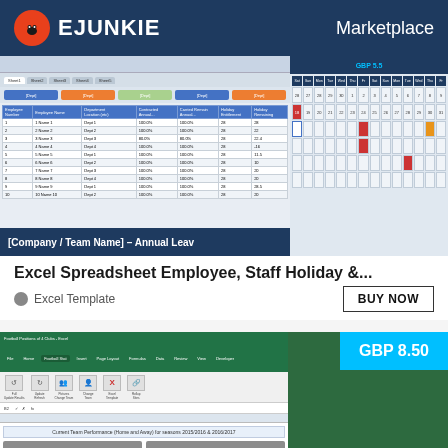EJUNKIE   Marketplace
[Figure (screenshot): Excel Spreadsheet Employee Staff Holiday tracker screenshot with colored tabs and calendar view on right side]
Excel Spreadsheet Employee, Staff Holiday &...
Excel Template
BUY NOW
[Figure (screenshot): Excel Football Positions spreadsheet showing Current Team Performance (Home and Away) for seasons 2015/2016 & 2016/2017 with Everton and West Brom team boxes]
GBP 8.50